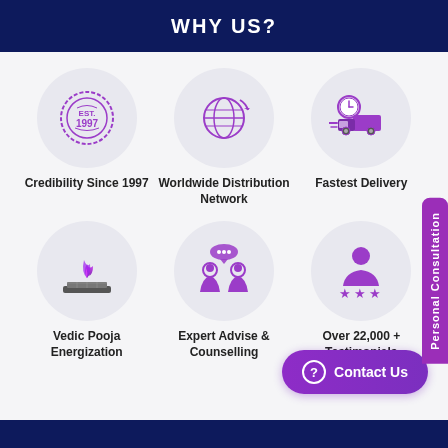WHY US?
[Figure (infographic): Six circular icons in a 3x2 grid representing: Credibility Since 1997 (badge icon), Worldwide Distribution Network (globe icon), Fastest Delivery (delivery truck with clock icon), Vedic Pooja Energization (fire/ritual icon), Expert Advise & Counselling (two people talking icon), Over 22,000 + Testimonials (person with stars icon)]
Credibility Since 1997
Worldwide Distribution Network
Fastest Delivery
Vedic Pooja Energization
Expert Advise & Counselling
Over 22,000 + Testimonials
Personal Consultation
Contact Us